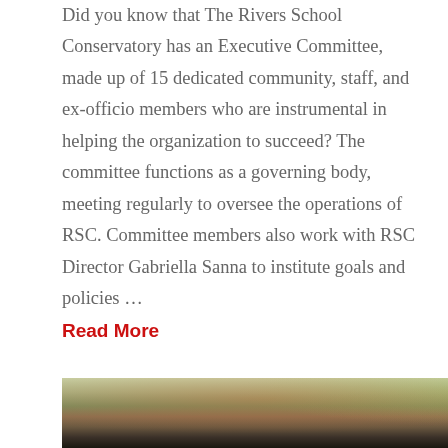Did you know that The Rivers School Conservatory has an Executive Committee, made up of 15 dedicated community, staff, and ex-officio members who are instrumental in helping the organization to succeed? The committee functions as a governing body, meeting regularly to oversee the operations of RSC. Committee members also work with RSC Director Gabriella Sanna to institute goals and policies ...
Read More
[Figure (photo): Outdoor photo showing a person partially visible at the bottom, with colorful autumn foliage trees in the background]